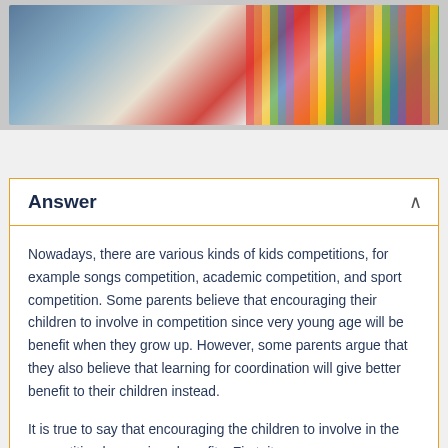[Figure (photo): Photo of children in a colorful classroom setting with colored pencils visible on the right side]
Answer
Nowadays, there are various kinds of kids competitions, for example songs competition, academic competition, and sport competition. Some parents believe that encouraging their children to involve in competition since very young age will be benefit when they grow up. However, some parents argue that they also believe that learning for coordination will give better benefit to their children instead.
It is true to say that encouraging the children to involve in the competition has various benefits. First, it can